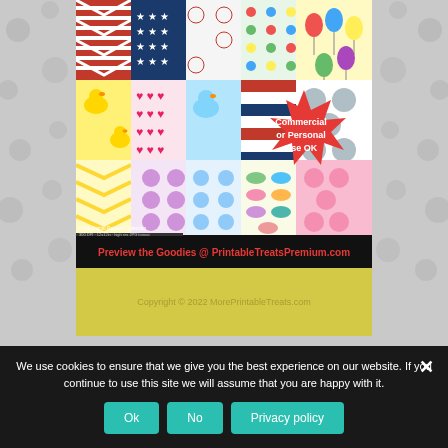[Figure (illustration): Collage of colorful digital paper patterns including polka dots, chevrons, rubber ducks, stars, stripes, balloons, and other patterns. Black banner at bottom reads 'Preview the Goodies @ PrintableTreatsPremium.com' in red text. Red starburst badge says 'Commercial or Personal Use OK'.]
Copyright © 2022 MorePrintableTreats.com
We use cookies to ensure that we give you the best experience on our website. If you continue to use this site we will assume that you are happy with it.